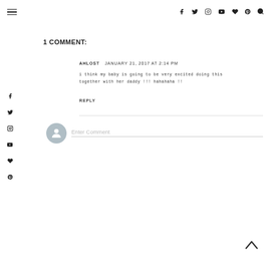Navigation bar with hamburger menu and social icons: Facebook, Twitter, Instagram, YouTube, Bloglovin, Pinterest, Search
1 COMMENT:
AHLOST  JANUARY 21, 2017 AT 2:14 PM
i think my baby is going to be very excited doing this together with her daddy !!! hahahaha !!
REPLY